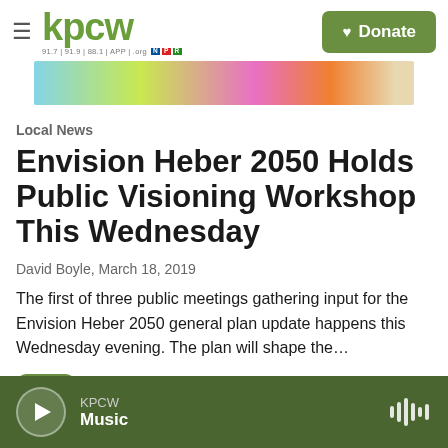kpcw — 91.7 | 91.9 | 88.1 | APP | .org — Donate
[Figure (photo): Colorful blurred image strip — hero photo partially visible at top of article]
Local News
Envision Heber 2050 Holds Public Visioning Workshop This Wednesday
David Boyle,  March 18, 2019
The first of three public meetings gathering input for the Envision Heber 2050 general plan update happens this Wednesday evening. The plan will shape the…
KPCW — Music